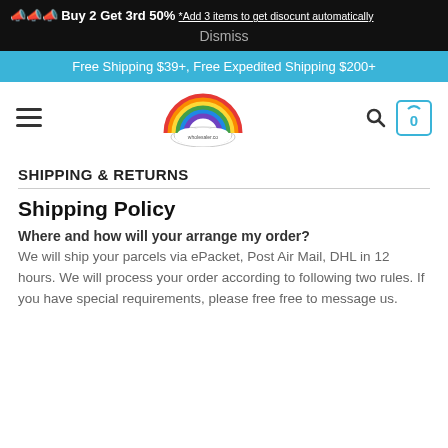📣📣📣 Buy 2 Get 3rd 50% *Add 3 items to get disocunt automatically
Dismiss
Free Shipping $39+, Free Expedited Shipping $200+
[Figure (logo): Rainbow logo with cloud and text]
SHIPPING & RETURNS
Shipping Policy
Where and how will your arrange my order?
We will ship your parcels via ePacket, Post Air Mail, DHL in 12 hours. We will process your order according to following two rules. If you have special requirements, please free free to message us.